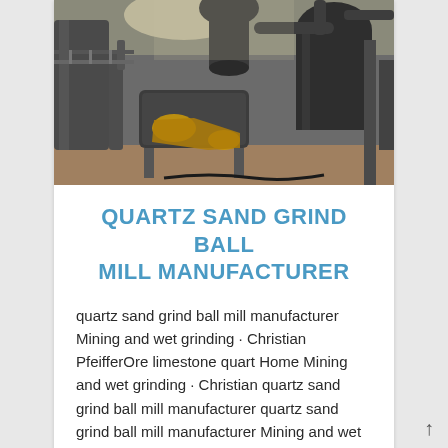[Figure (photo): Industrial ball mill machinery inside a factory/warehouse: large metal vessels, conveyor belt with yellow pulleys, pipes and ductwork, concrete floor, overhead lighting]
QUARTZ SAND GRIND BALL MILL MANUFACTURER
quartz sand grind ball mill manufacturer Mining and wet grinding · Christian PfeifferOre limestone quart Home Mining and wet grinding · Christian quartz sand grind ball mill manufacturer quartz sand grind ball mill manufacturer Mining and wet grinding · Christian